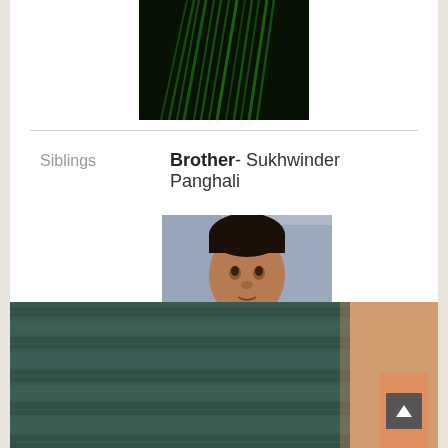[Figure (photo): Dark close-up photo showing green linear strands/fibers against a dark background]
Siblings   Brother- Sukhwinder Panghali
[Figure (photo): Photo of a young South Asian man wearing a dark blue jacket with an orange item, outdoors with blurred background]
[Figure (photo): Close-up photo of a person wearing a teal/dark green turban, cropped to show just the turban wrapping]